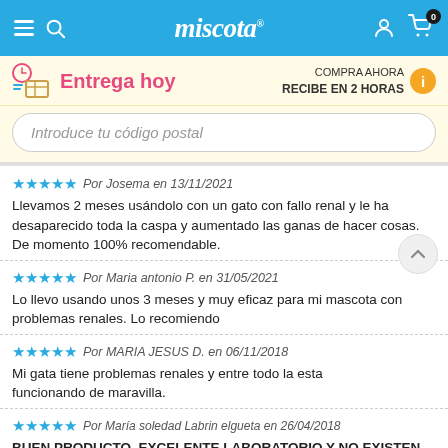miscota — navigation bar with hamburger menu, search, logo, user icon, and cart (0)
Entrega hoy — COMPRA AHORA RECIBE EN 2 HORAS
Introduce tu código postal
★★★★★ Por Josema en 13/11/2021
Llevamos 2 meses usándolo con un gato con fallo renal y le ha desaparecido toda la caspa y aumentado las ganas de hacer cosas. De momento 100% recomendable.
★★★★★ Por Maria antonio P. en 31/05/2021
Lo llevo usando unos 3 meses y muy eficaz para mi mascota con problemas renales. Lo recomiendo
★★★★★ Por MARIA JESUS D. en 06/11/2018
Mi gata tiene problemas renales y entre todo la esta funcionando de maravilla.
★★★★★ Por María soledad Labrin elgueta en 26/04/2018
BUEN PRODUCTO, EXCELENTE LABORATORIO Y NO EXISTEN EN AMERICA LATINA